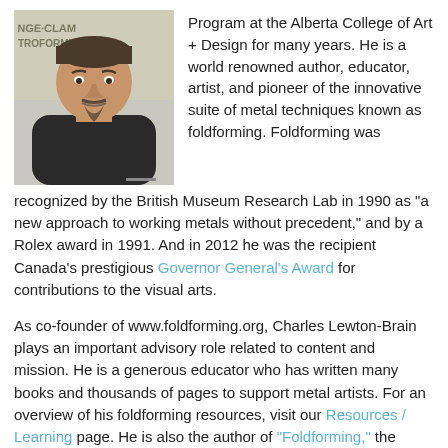[Figure (photo): Portrait photo of a middle-aged man with a goatee, wearing a dark shirt, with signage visible in the background]
Program at the Alberta College of Art + Design for many years. He is a world renowned author, educator, artist, and pioneer of the innovative suite of metal techniques known as foldforming. Foldforming was recognized by the British Museum Research Lab in 1990 as "a new approach to working metals without precedent," and by a Rolex award in 1991. And in 2012 he was the recipient Canada's prestigious Governor General's Award for contributions to the visual arts.
As co-founder of www.foldforming.org, Charles Lewton-Brain plays an important advisory role related to content and mission. He is a generous educator who has written many books and thousands of pages to support metal artists. For an overview of his foldforming resources, visit our Resources / Learning page. He is also the author of "Foldforming," the definitive book about foldforming in the metal arts. Read more about Charles Lewton-Brain...